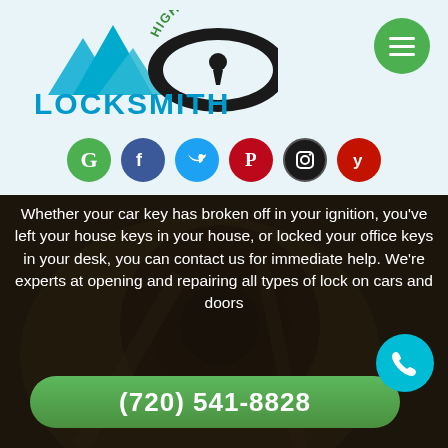[Figure (logo): Highlands Locksmith logo with mountain peaks and keyhole on lock graphic]
[Figure (infographic): Social media icons row: Google (green), Facebook (blue), Twitter (blue), Pinterest (red), Instagram (black), Yelp (red)]
Whether your car key has broken off in your ignition, you've left your house keys in your house, or locked your office keys in your desk, you can contact us for immediate help. We're experts at opening and repairing all types of lock on cars and doors
(720) 541-8828